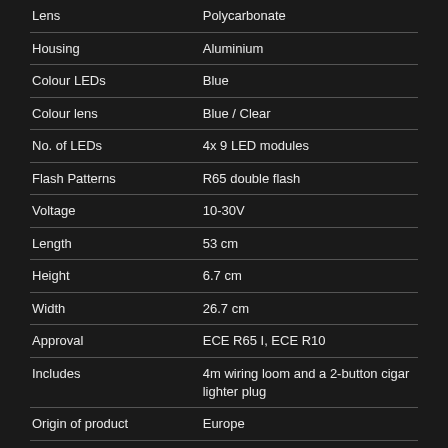| Property | Value |
| --- | --- |
| Lens | Polycarbonate |
| Housing | Aluminium |
| Colour LEDs | Blue |
| Colour lens | Blue / Clear |
| No. of LEDs | 4x 9 LED modules |
| Flash Patterns | R65 double flash |
| Voltage | 10-30V |
| Length | 53 cm |
| Height | 6.7 cm |
| Width | 26.7 cm |
| Approval | ECE R65 I, ECE R10 |
| Includes | 4m wiring loom and a 2-button cigar lighter plug |
| Origin of product | Europe |
| Guaranty | 3 years |